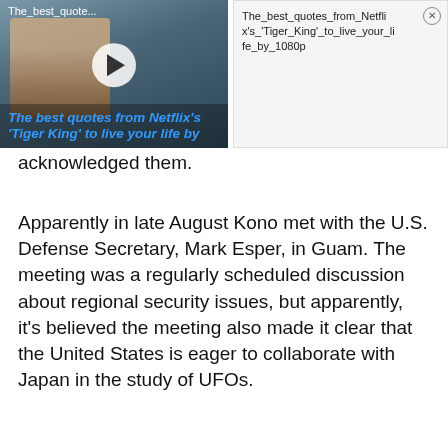[Figure (screenshot): Video thumbnail showing a person with text overlay 'The best quotes from Netflix's Tiger King to live your life by' with a play button. Top label reads 'The_best_quote...']
[Figure (screenshot): Ad panel with text 'The_best_quotes_from_Netflix's_Tiger_King_to_live_your_life_by_1080p' and a close (X) button]
acknowledged them.
Apparently in late August Kono met with the U.S. Defense Secretary, Mark Esper, in Guam. The meeting was a regularly scheduled discussion about regional security issues, but apparently, it's believed the meeting also made it clear that the United States is eager to collaborate with Japan in the study of UFOs.